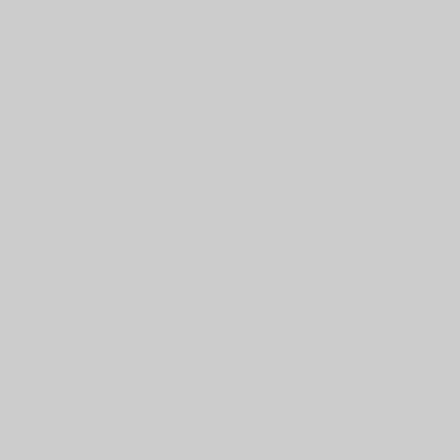| Folder | Description |
| --- | --- |
|  | Divison 8; CIV-7 Ric... Brown Pe... Whiteville... School Bo... |
| Folder 693 | Wilmingto... Divison 8; CIV-7 Billy Dawson v. Thomas A. Radewicz... of New Ha... County, e... |
| Folder 694 | Wilmingto... Divison 83 CIV-7 Aetr... Insurance... Company... Pamela S. and Linda Boyd |
| Folder 695 | Wilmingto... Divison 83 CIV-7A Ne... Island Ch... Inc. etc v... |